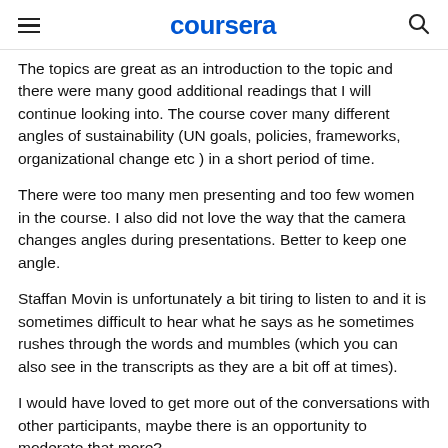coursera
The topics are great as an introduction to the topic and there were many good additional readings that I will continue looking into. The course cover many different angles of sustainability (UN goals, policies, frameworks, organizational change etc ) in a short period of time.
There were too many men presenting and too few women in the course. I also did not love the way that the camera changes angles during presentations. Better to keep one angle.
Staffan Movin is unfortunately a bit tiring to listen to and it is sometimes difficult to hear what he says as he sometimes rushes through the words and mumbles (which you can also see in the transcripts as they are a bit off at times).
I would have loved to get more out of the conversations with other participants, maybe there is an opportunity to moderate that more?